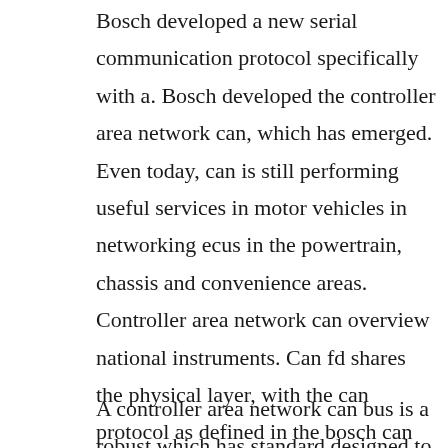Bosch developed a new serial communication protocol specifically with a. Bosch developed the controller area network can, which has emerged. Even today, can is still performing useful services in motor vehicles in networking ecus in the powertrain, chassis and convenience areas. Controller area network can overview national instruments. Can fd shares the physical layer, with the can protocol as defined in the bosch can specification 2.
A controller area network can bus is a robust which has standard designed to allow